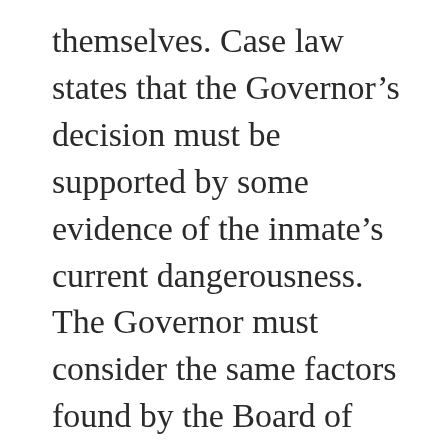themselves. Case law states that the Governor's decision must be supported by some evidence of the inmate's current dangerousness. The Governor must consider the same factors found by the Board of Parole Hearings. However, he is entitled to weigh them differently. Brown's ruling cites a passage from the 2008 California Supreme Court opinion, In re Lawrence, which states “that certain conviction offenses may be so